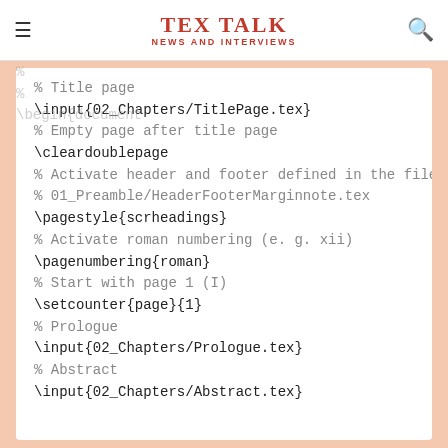TEX TALK — NEWS AND INTERVIEWS
% 
% 
\begin{document
% Title page
\input{02_Chapters/TitlePage.tex}
% Empty page after title page
\cleardoublepage
% Activate header and footer defined in the file:
% 01_Preamble/HeaderFooterMarginnote.tex
\pagestyle{scrheadings}
% Activate roman numbering (e. g. xii)
\pagenumbering{roman}
% Start with page 1 (I)
\setcounter{page}{1}
% Prologue
\input{02_Chapters/Prologue.tex}
% Abstract
\input{02_Chapters/Abstract.tex}